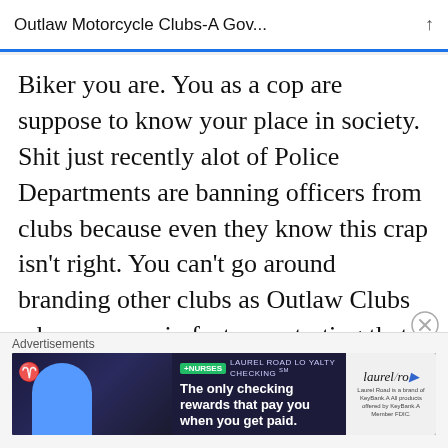Outlaw Motorcycle Clubs-A Gov...
Biker you are. You as a cop are suppose to know your place in society. Shit just recently alot of Police Departments are banning officers from clubs because even they know this crap isn’t right. You can’t go around branding other clubs as Outlaw Clubs when you are in fact perpetrating that image with your cop club. I often wonder when a RICO case will hit the Iron Order or Punishers M/C. It is after all that if a member is doing something against the law, then the whole
[Figure (screenshot): Advertisement banner for Laurel Road Loyalty Checking with +NURSES tag. Text reads: The only checking rewards that pay you when you get paid.]